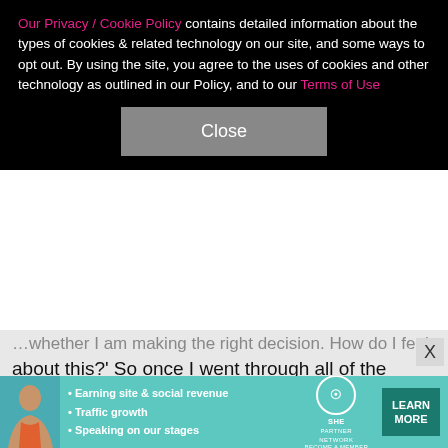Our Privacy / Cookie Policy contains detailed information about the types of cookies & related technology on our site, and some ways to opt out. By using the site, you agree to the uses of cookies and other technology as outlined in our Policy, and to our Terms of Use
Close
...whether I am making the right decision. How do I feel about this?' So once I went through all of the motions, I finally was, like, 'OK, guys, I am so ready to meet someone.' And I randomly did." Now, she's relishing the everyday normalcy of her relationship with the "Saturday Night Live" star. Recalled the mother of four, "We were driving in the car yesterday and I just, like, looked at him and I was like, 'Thank you.' And he was like, 'What?' And I was like, 'For running errands with me, like, this is so much fun just to, like, go to a doctor
[Figure (infographic): SHE Partner Network advertisement banner with woman photo, bullet points: Earning site & social revenue, Traffic growth, Speaking on our stages. SHE PARTNER NETWORK BECOME A MEMBER. LEARN MORE button.]